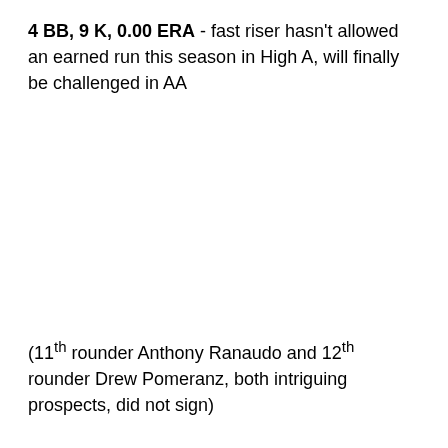4 BB, 9 K, 0.00 ERA - fast riser hasn't allowed an earned run this season in High A, will finally be challenged in AA
(11th rounder Anthony Ranaudo and 12th rounder Drew Pomeranz, both intriguing prospects, did not sign)